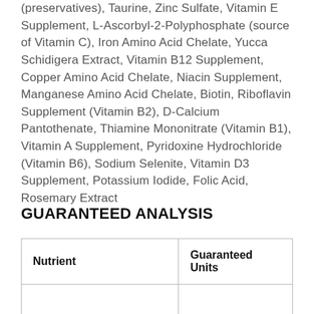(preservatives), Taurine, Zinc Sulfate, Vitamin E Supplement, L-Ascorbyl-2-Polyphosphate (source of Vitamin C), Iron Amino Acid Chelate, Yucca Schidigera Extract, Vitamin B12 Supplement, Copper Amino Acid Chelate, Niacin Supplement, Manganese Amino Acid Chelate, Biotin, Riboflavin Supplement (Vitamin B2), D-Calcium Pantothenate, Thiamine Mononitrate (Vitamin B1), Vitamin A Supplement, Pyridoxine Hydrochloride (Vitamin B6), Sodium Selenite, Vitamin D3 Supplement, Potassium Iodide, Folic Acid, Rosemary Extract
GUARANTEED ANALYSIS
| Nutrient | Guaranteed Units |
| --- | --- |